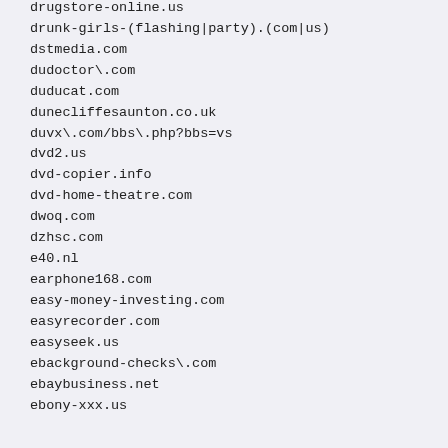drugstore-online.us
drunk-girls-(flashing|party).(com|us)
dstmedia.com
dudoctor\.com
duducat.com
dunecliffesaunton.co.uk
duvx\.com/bbs\.php?bbs=vs
dvd2.us
dvd-copier.info
dvd-home-theatre.com
dwoq.com
dzhsc.com
e40.nl
earphone168.com
easy-money-investing.com
easyrecorder.com
easyseek.us
ebackground-checks\.com
ebaybusiness.net
ebony-xxx.us